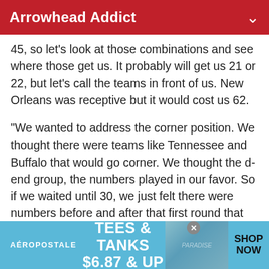Arrowhead Addict
45, so let's look at those combinations and see where those get us. It probably will get us 21 or 22, but let's call the teams in front of us. New Orleans was receptive but it would cost us 62.
“We wanted to address the corner position. We thought there were teams like Tennessee and Buffalo that would go corner. We thought the d-end group, the numbers played in our favor. So if we waited until 30, we just felt there were numbers before and after that first round that would help us. Whereas corners, during our process, we had a couple of guys and we felt it would be iffy if they fell to 29.  So we were
[Figure (photo): Aeropostale advertisement banner: TEES & TANKS $6.87 & UP with SHOP NOW call to action]